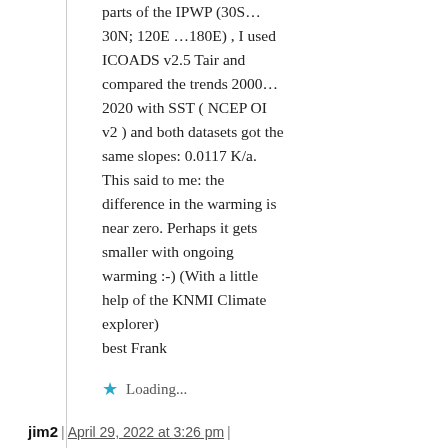parts of the IPWP (30S… 30N; 120E …180E) , I used ICOADS v2.5 Tair and compared the trends 2000… 2020 with SST ( NCEP OI v2 ) and both datasets got the same slopes: 0.0117 K/a. This said to me: the difference in the warming is near zero. Perhaps it gets smaller with ongoing warming :-) (With a little help of the KNMI Climate explorer)
best Frank
Loading...
jim2 | April 29, 2022 at 3:26 pm |